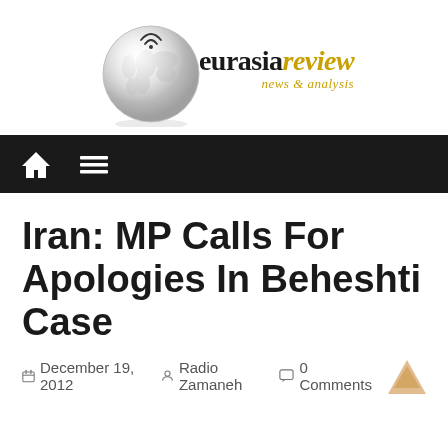[Figure (logo): Eurasia Review logo with globe graphic, 'eurasia' in black serif and 'review' in gold italic, tagline 'news & analysis' in gold italic]
[Figure (screenshot): Dark navigation bar with white house icon and hamburger menu icon]
Iran: MP Calls For Apologies In Beheshti Case
December 19, 2012   Radio Zamaneh   0 Comments